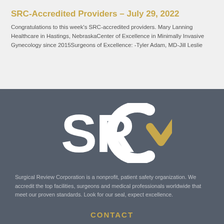SRC-Accredited Providers – July 29, 2022
Congratulations to this week's SRC-accredited providers. Mary Lanning Healthcare in Hastings, NebraskaCenter of Excellence in Minimally Invasive Gynecology since 2015Surgeons of Excellence: -Tyler Adam, MD-Jill Leslie
[Figure (logo): SRC logo — white letters 'SRC' with a gold checkmark replacing the letter C's closing stroke, on a dark grey background]
Surgical Review Corporation is a nonprofit, patient safety organization. We accredit the top facilities, surgeons and medical professionals worldwide that meet our proven standards. Look for our seal, expect excellence.
CONTACT